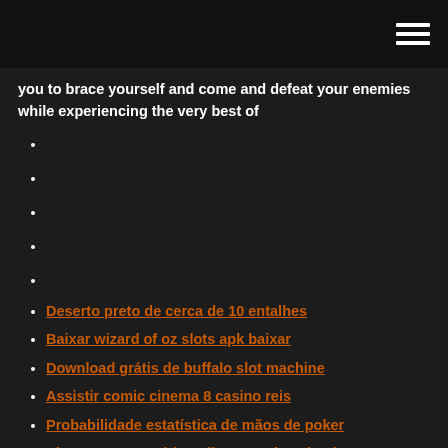you to brace yourself and come and defeat your enemies while experiencing the very best of
Deserto preto de cerca de 10 entalhes
Baixar wizard of oz slots apk baixar
Download grátis de buffalo slot machine
Assistir comic cinema 8 casino reis
Probabilidade estatística de mãos de poker
Slots seguros grátis online sem download
Reddit online de cassino superior